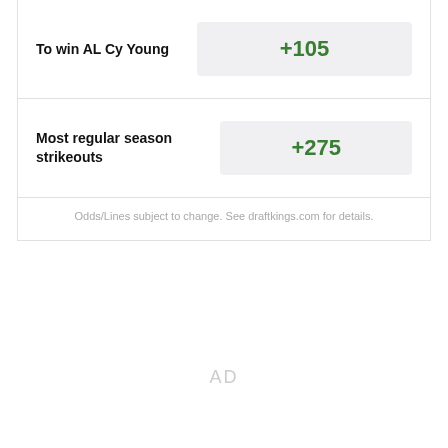To win AL Cy Young
+105
Most regular season strikeouts
+275
Odds/Lines subject to change. See draftkings.com for details.
AD